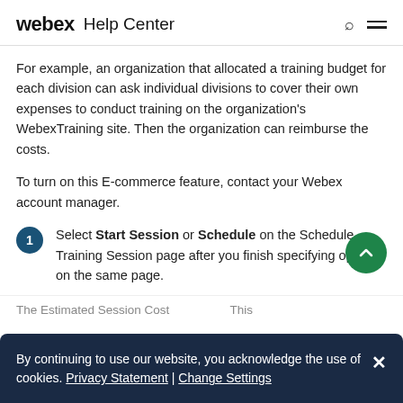webex Help Center
For example, an organization that allocated a training budget for each division can ask individual divisions to cover their own expenses to conduct training on the organization's WebexTraining site. Then the organization can reimburse the costs.
To turn on this E-commerce feature, contact your Webex account manager.
Select Start Session or Schedule on the Schedule Training Session page after you finish specifying options on the same page.
By continuing to use our website, you acknowledge the use of cookies. Privacy Statement | Change Settings